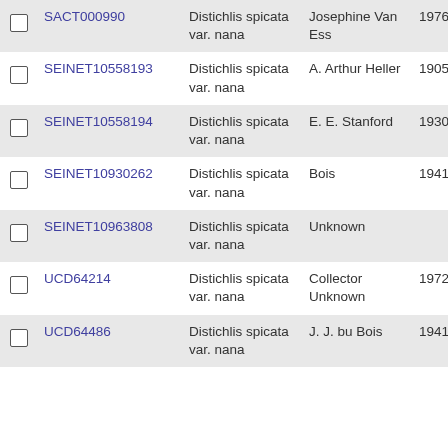|  | ID | Species | Collector | Date |
| --- | --- | --- | --- | --- |
|  | SACT000990 | Distichlis spicata var. nana | Josephine Van Ess | 1976-8-1 |
|  | SEINET10558193 | Distichlis spicata var. nana | A. Arthur Heller | 1905-4-6 |
|  | SEINET10558194 | Distichlis spicata var. nana | E. E. Stanford | 1930-5-10 |
|  | SEINET10930262 | Distichlis spicata var. nana | Bois | 1941-5-30 |
|  | SEINET10963808 | Distichlis spicata var. nana | Unknown |  |
|  | UCD64214 | Distichlis spicata var. nana | Collector Unknown | 1972-4-1 |
|  | UCD64486 | Distichlis spicata var. nana | J. J. bu Bois | 1941-5-30 |